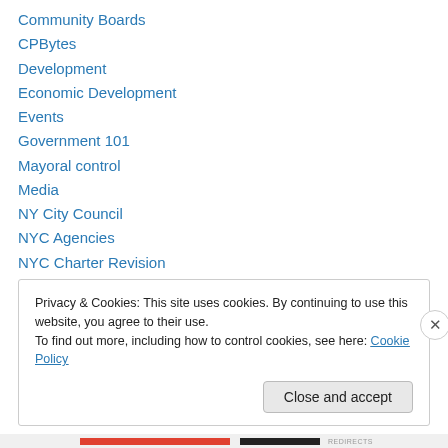Community Boards
CPBytes
Development
Economic Development
Events
Government 101
Mayoral control
Media
NY City Council
NYC Agencies
NYC Charter Revision
NYC Government
NYS Government
Privacy & Cookies: This site uses cookies. By continuing to use this website, you agree to their use.
To find out more, including how to control cookies, see here: Cookie Policy
Close and accept